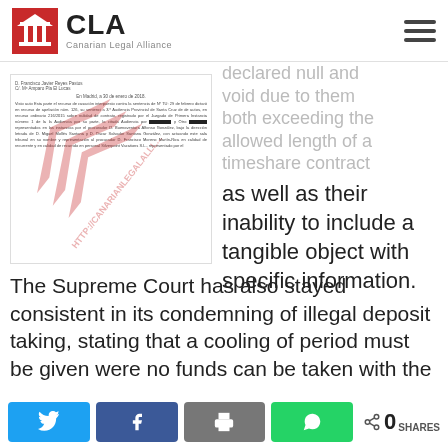[Figure (logo): CLA - Canarian Legal Alliance logo with red building/pillar icon and hamburger menu icon]
[Figure (photo): Scanned Spanish court document with CLA watermark overlay text 'HTTP://CANARIANLEGALALLL...']
declared null and void due to them both exceeding the allowed length of a timeshare contract as well as their inability to include a tangible object with specific information.
The Supreme Court has also stayed consistent in its condemning of illegal deposit taking, stating that a cooling of period must be given were no funds can be taken with the
[Figure (infographic): Social sharing bar with Twitter, Facebook, Print, WhatsApp buttons and share count of 0]